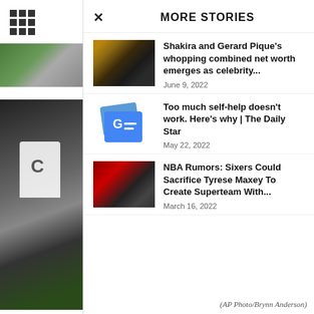[Figure (screenshot): Grid/apps icon (3x3 dots) in top-left corner]
[Figure (photo): Blurred green background image in left panel top section]
[Figure (photo): Blurred photo of basketball player in white jersey in left panel]
× MORE STORIES
[Figure (photo): Thumbnail photo of Shakira and Gerard Pique]
Shakira and Gerard Pique's whopping combined net worth emerges as celebrity...
June 9, 2022
[Figure (logo): Google News logo icon (blue folder with G= symbol)]
Too much self-help doesn't work. Here's why | The Daily Star
May 22, 2022
[Figure (photo): Thumbnail photo of NBA basketball player in red jersey]
NBA Rumors: Sixers Could Sacrifice Tyrese Maxey To Create Superteam With...
March 16, 2022
(AP Photo/Brynn Anderson)